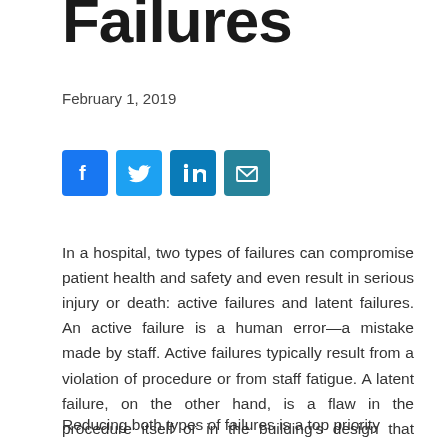Failures
February 1, 2019
[Figure (other): Social media sharing icons: Facebook, Twitter, LinkedIn, Email]
In a hospital, two types of failures can compromise patient health and safety and even result in serious injury or death: active failures and latent failures. An active failure is a human error—a mistake made by staff. Active failures typically result from a violation of procedure or from staff fatigue. A latent failure, on the other hand, is a flaw in the procedure itself or in the building's design that results in patient harm.
Reducing both types of failures is a top priority